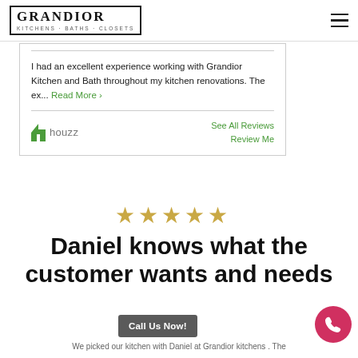[Figure (logo): Grandior Kitchens - Baths - Closets logo in a double-bordered box, serif font]
I had an excellent experience working with Grandior Kitchen and Bath throughout my kitchen renovations. The ex... Read More ›
[Figure (logo): Houzz logo with green icon and gray 'houzz' text]
See All Reviews
Review Me
[Figure (other): Five gold star rating icons]
Daniel knows what the customer wants and needs
We picked our kitchen with Daniel at Grandior kitchens. The
Call Us Now!